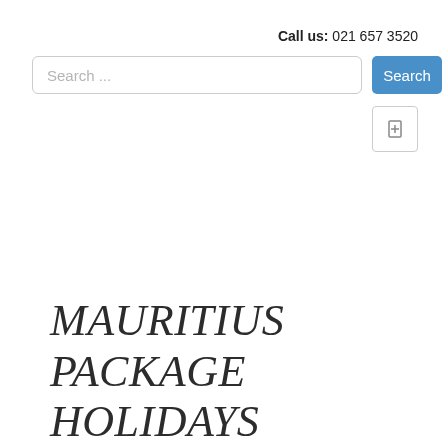Call us: 021 657 3520
[Figure (screenshot): Search input field with placeholder text 'Search ...' and a blue Search button to the right]
[Figure (other): Small square icon button with a bookmark/flag icon]
MAURITIUS PACKAGE HOLIDAYS